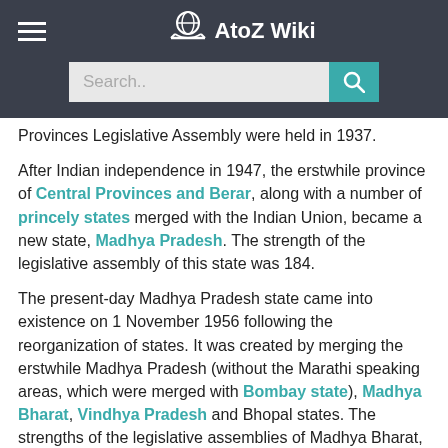AtoZ Wiki
Provinces Legislative Assembly were held in 1937.
After Indian independence in 1947, the erstwhile province of Central Provinces and Berar, along with a number of princely states merged with the Indian Union, became a new state, Madhya Pradesh. The strength of the legislative assembly of this state was 184.
The present-day Madhya Pradesh state came into existence on 1 November 1956 following the reorganization of states. It was created by merging the erstwhile Madhya Pradesh (without the Marathi speaking areas, which were merged with Bombay state), Madhya Bharat, Vindhya Pradesh and Bhopal states. The strengths of the legislative assemblies of Madhya Bharat, Vindhya Pradesh, and Bhopal were 79, 48, and 23, respectively. On 1 November 1956, the legislative assemblies of all four erstwhile states were also merged to form the